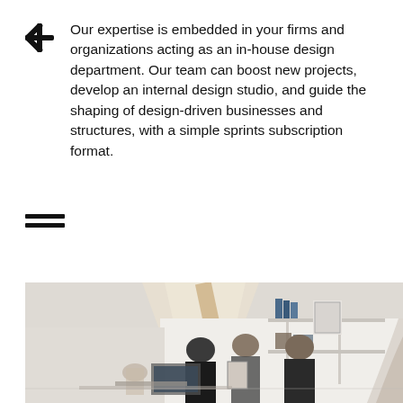Our expertise is embedded in your firms and organizations acting as an in-house design department. Our team can boost new projects, develop an internal design studio, and guide the shaping of design-driven businesses and structures, with a simple sprints subscription format.
[Figure (illustration): Two horizontal black bars icon (equals/menu symbol)]
[Figure (photo): Interior office/studio photo showing people standing and collaborating in a bright white room with shelves holding books and framed artwork, and an arched architectural feature on the right.]